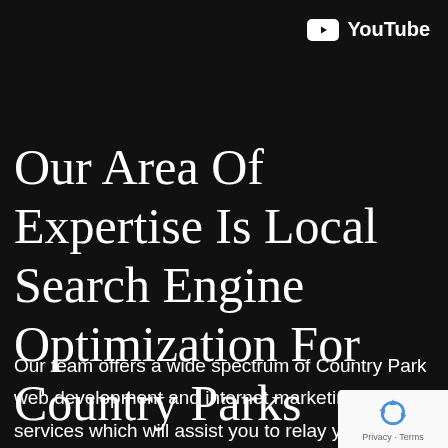[Figure (logo): YouTube logo: white play button icon in rectangle followed by 'YouTube' text in white]
Our Area Of Expertise Is Local Search Engine Optimization For Country Parks
Our team offers a wide spectrum of Country Park web development and internet marketing services which will assist you to relay your information to your audience.
[Figure (logo): Google reCAPTCHA badge with recycling/circular arrow icon in blue and 'Privacy · Terms' text below]